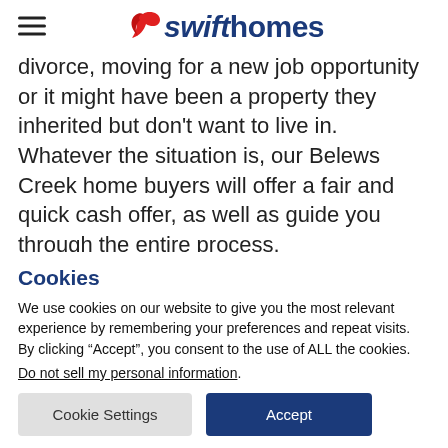swifthomes
divorce, moving for a new job opportunity or it might have been a property they inherited but don't want to live in. Whatever the situation is, our Belews Creek home buyers will offer a fair and quick cash offer, as well as guide you through the entire process.
Cookies
We use cookies on our website to give you the most relevant experience by remembering your preferences and repeat visits. By clicking “Accept”, you consent to the use of ALL the cookies.
Do not sell my personal information.
Cookie Settings   Accept